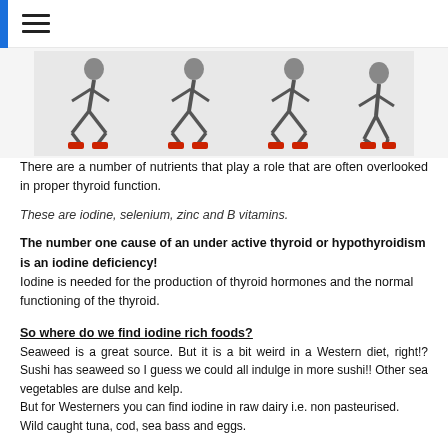[Figure (photo): Photo showing multiple poses of a person squatting/exercising, sequence of 4 silhouettes against a light background]
There are a number of nutrients that play a role that are often overlooked in proper thyroid function.
These are iodine, selenium, zinc and B vitamins.
The number one cause of an under active thyroid or hypothyroidism is an iodine deficiency! Iodine is needed for the production of thyroid hormones and the normal functioning of the thyroid.
So where do we find iodine rich foods?
Seaweed is a great source. But it is a bit weird in a Western diet, right!? Sushi has seaweed so I guess we could all indulge in more sushi!! Other sea vegetables are dulse and kelp.
But for Westerners you can find iodine in raw dairy i.e. non pasteurised.
Wild caught tuna, cod, sea bass and eggs.